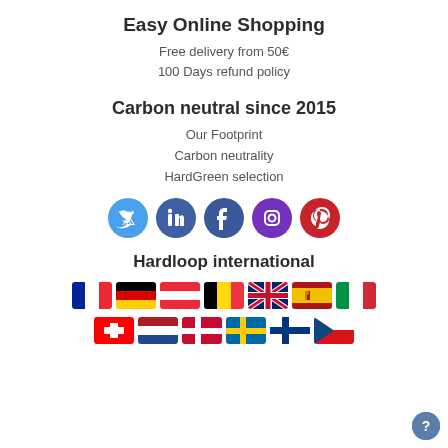Easy Online Shopping
Free delivery from 50€
100 Days refund policy
Carbon neutral since 2015
Our Footprint
Carbon neutrality
HardGreen selection
[Figure (infographic): Row of 5 social media icons: Twitter (blue), LinkedIn (blue), Facebook (dark blue), Instagram (purple), Pinterest (red)]
Hardloop international
[Figure (infographic): Two rows of country flags: Row 1: France, Germany, Austria, Belgium, UK, Spain, Italy. Row 2: Switzerland, Netherlands, Denmark, Sweden, Finland, Czech Republic]